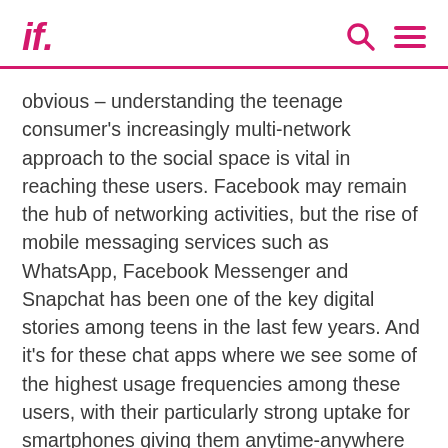if.
obvious – understanding the teenage consumer's increasingly multi-network approach to the social space is vital in reaching these users. Facebook may remain the hub of networking activities, but the rise of mobile messaging services such as WhatsApp, Facebook Messenger and Snapchat has been one of the key digital stories among teens in the last few years. And it's for these chat apps where we see some of the highest usage frequencies among these users, with their particularly strong uptake for smartphones giving them anytime-anywhere access to the platforms they prefer. Couple this with ongoing